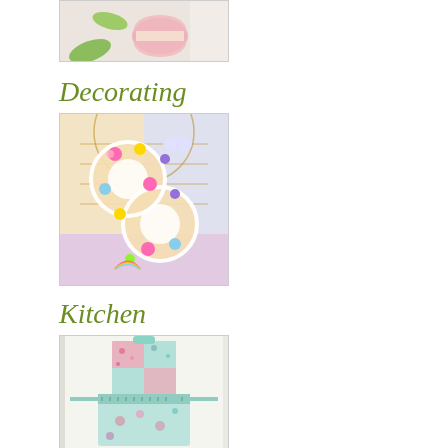[Figure (photo): Partial top photo — cropped image showing pink macaron or dessert with green leaves on a light background]
Decorating
[Figure (photo): Decorated number 8 shaped cookie/bread covered with colorful fondant roses and decorative elements in pink, yellow, blue, purple, on a wire cooling rack with pastel background]
Kitchen
[Figure (photo): Floral patchwork apron in mint/aqua and pink floral fabric hanging against white background]